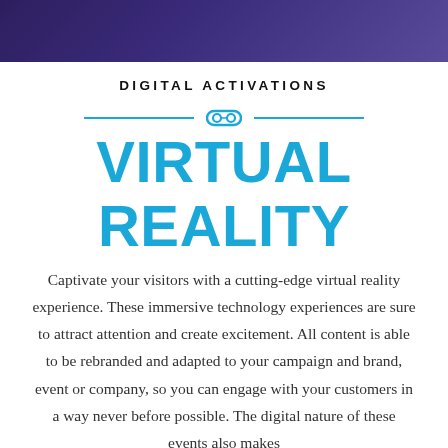[Figure (other): Dark purple gradient header bar at top of page]
DIGITAL ACTIVATIONS
[Figure (other): Horizontal divider with VR goggles icon in center, flanked by two teal lines]
VIRTUAL REALITY
Captivate your visitors with a cutting-edge virtual reality experience. These immersive technology experiences are sure to attract attention and create excitement. All content is able to be rebranded and adapted to your campaign and brand, event or company, so you can engage with your customers in a way never before possible. The digital nature of these events also makes